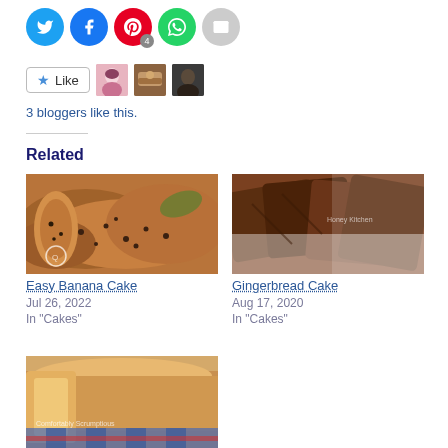[Figure (other): Social share buttons: Twitter (blue), Facebook (blue), Pinterest (red, badge 4), WhatsApp (green), Email (gray)]
[Figure (other): Like button with star icon and 3 blogger avatar thumbnails]
3 bloggers like this.
Related
[Figure (photo): Photo of sliced banana cake with chocolate chips]
Easy Banana Cake
Jul 26, 2022
In "Cakes"
[Figure (photo): Photo of sliced gingerbread cake on white paper]
Gingerbread Cake
Aug 17, 2020
In "Cakes"
[Figure (photo): Photo of sliced golden loaf cake on checkered cloth]